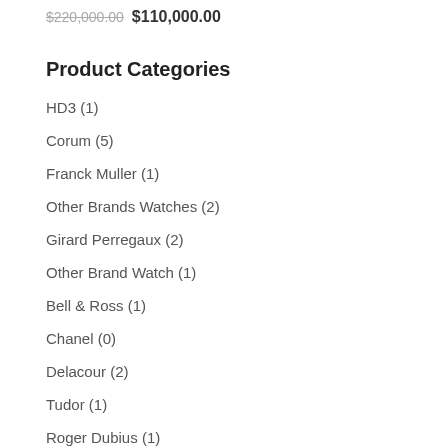$220,000.00 $110,000.00
Product Categories
HD3 (1)
Corum (5)
Franck Muller (1)
Other Brands Watches (2)
Girard Perregaux (2)
Other Brand Watch (1)
Bell & Ross (1)
Chanel (0)
Delacour (2)
Tudor (1)
Roger Dubius (1)